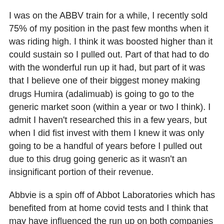I was on the ABBV train for a while, I recently sold 75% of my position in the past few months when it was riding high. I think it was boosted higher than it could sustain so I pulled out. Part of that had to do with the wonderful run up it had, but part of it was that I believe one of their biggest money making drugs Humira (adalimuab) is going to go to the generic market soon (within a year or two I think). I admit I haven't researched this in a few years, but when I did fist invest with them I knew it was only going to be a handful of years before I pulled out due to this drug going generic as it wasn't an insignificant portion of their revenue.
Abbvie is a spin off of Abbot Laboratories which has benefited from at home covid tests and I think that may have influenced the run up on both companies recently. Either way, I found my exit just recently and it might be worth looking back at ABBV if you haven't done that in a